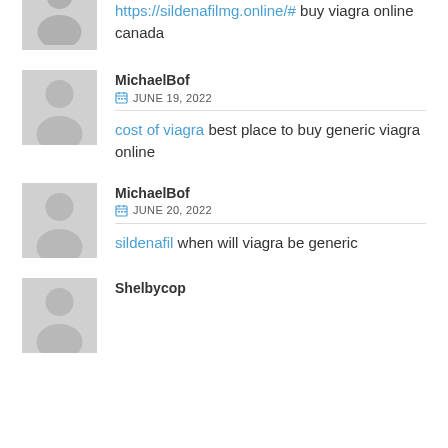[Figure (other): Partial avatar silhouette at top of page]
https://sildenafilmg.online/# buy viagra online canada
MichaelBof
JUNE 19, 2022
cost of viagra best place to buy generic viagra online
MichaelBof
JUNE 20, 2022
sildenafil when will viagra be generic
Shelbycop